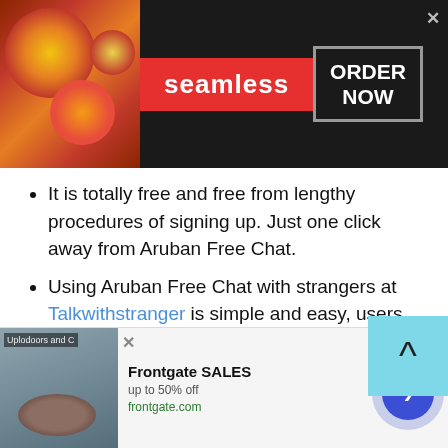[Figure (screenshot): Seamless food delivery advertisement banner with pizza image on left, red Seamless logo in center, and ORDER NOW button on right with close X button]
It is totally free and free from lengthy procedures of signing up. Just one click away from Aruban Free Chat.
Using Aruban Free Chat with strangers at Talkwithstranger is simple and easy, users don't need to install any third party software, open a world full of possibilities to connect with like minded people.
At this amazing avenue, there is an assurance of
[Figure (screenshot): Frontgate SALES advertisement banner with outdoor furniture image, text 'Frontgate SALES up to 50% off frontgate.com', close button and next arrow button]